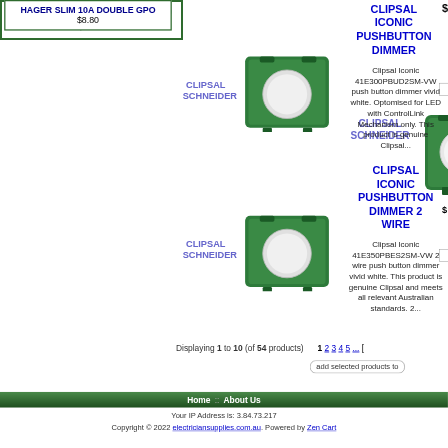HAGER SLIM 10A DOUBLE GPO
$8.80
CLIPSAL SCHNEIDER
[Figure (photo): Clipsal Iconic pushbutton dimmer product photo - green square module with white button]
CLIPSAL ICONIC PUSHBUTTON DIMMER
Clipsal Iconic 41E300PBUD2SM-VW push button dimmer vivid white. Optomised for LED with ControlLink Mechanism only. This product is genuine Clipsal...
CLIPSAL SCHNEIDER
[Figure (photo): Clipsal Iconic pushbutton dimmer 2 wire product photo - green square module with white button]
CLIPSAL ICONIC PUSHBUTTON DIMMER 2 WIRE
Clipsal Iconic 41E350PBES2SM-VW 2 wire push button dimmer vivid white. This product is genuine Clipsal and meets all relevant Australian standards. 2...
Displaying 1 to 10 (of 54 products)
1 2 3 4 5 ...
add selected products to
Home :: About Us
Your IP Address is: 3.84.73.217
Copyright © 2022 electriciansupplies.com.au. Powered by Zen Cart